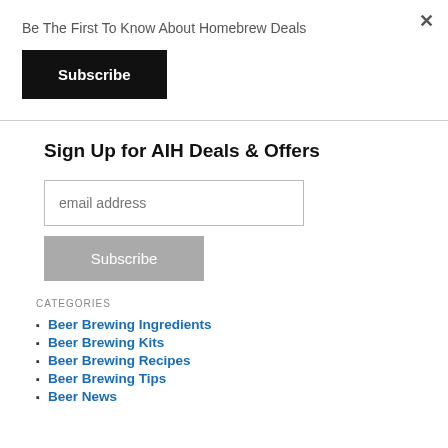×
Be The First To Know About Homebrew Deals
Subscribe
Sign Up for AIH Deals & Offers
email address
Subscribe
CATEGORIES
Beer Brewing Ingredients
Beer Brewing Kits
Beer Brewing Recipes
Beer Brewing Tips
Beer News